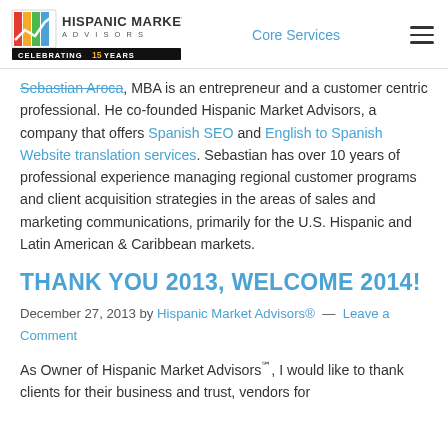Hispanic Market Advisors — Celebrating 15 Years | Core Services
Sebastian Aroca, MBA is an entrepreneur and a customer centric professional. He co-founded Hispanic Market Advisors, a company that offers Spanish SEO and English to Spanish Website translation services. Sebastian has over 10 years of professional experience managing regional customer programs and client acquisition strategies in the areas of sales and marketing communications, primarily for the U.S. Hispanic and Latin American & Caribbean markets.
THANK YOU 2013, WELCOME 2014!
December 27, 2013 by Hispanic Market Advisors® — Leave a Comment
As Owner of Hispanic Market Advisors℠, I would like to thank clients for their business and trust, vendors for